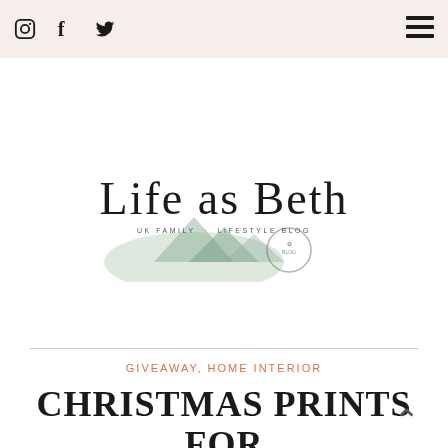Instagram, Facebook, Twitter social icons; hamburger menu
[Figure (logo): Life as Beth - UK Family Lifestyle Blog logo with watercolor mountain illustration and script lettering]
GIVEAWAY, HOME INTERIOR
CHRISTMAS PRINTS FOR THE HOME (AND GIVEAWAY)